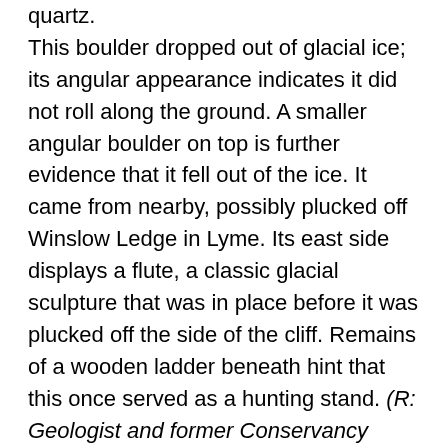quartz. This boulder dropped out of glacial ice; its angular appearance indicates it did not roll along the ground. A smaller angular boulder on top is further evidence that it fell out of the ice. It came from nearby, possibly plucked off Winslow Ledge in Lyme. Its east side displays a flute, a classic glacial sculpture that was in place before it was plucked off the side of the cliff. Remains of a wooden ladder beneath hint that this once served as a hunting stand. (R: Geologist and former Conservancy Board member Dick Birnie on a trip to evaluate the erratic).
Now follow the stream back down toward the Conservancy’s wooden sign. Halfway, you’ll see our small green boundary markers.
Tunis Brook flows north to join Pressey